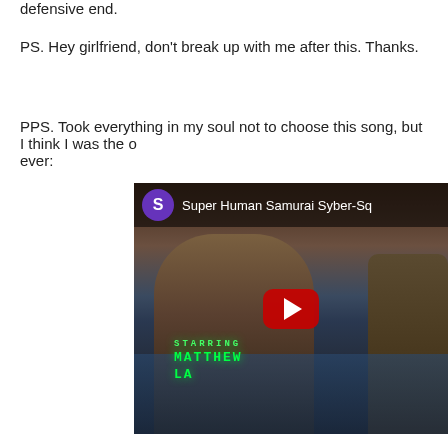defensive end.
PS. Hey girlfriend, don't break up with me after this.  Thanks.
PPS.  Took everything in my soul not to choose this song, but I think I was the o ever:
[Figure (screenshot): YouTube video thumbnail for 'Super Human Samurai Syber-Sq...' showing a young man with long hair smiling, holding a guitar, with green text overlay reading 'STARRING MATTHEW LA'. A YouTube play button is visible in the center. A purple circle channel icon with 'S' is in the top-left corner.]